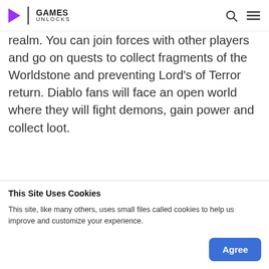GAMES UNLOCKS
realm. You can join forces with other players and go on quests to collect fragments of the Worldstone and preventing Lord’s of Terror return. Diablo fans will face an open world where they will fight demons, gain power and collect loot.
You can download Diablo Immortals here.
[Figure (screenshot): Diablo Immortal Cinem... video thumbnail with dark background and golden letter D]
This Site Uses Cookies
This site, like many others, uses small files called cookies to help us improve and customize your experience.